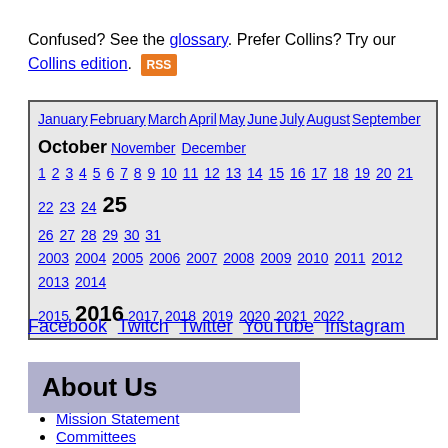Confused? See the glossary. Prefer Collins? Try our Collins edition. RSS
[Figure (other): Navigation box with months (January through December, October bold/current), days 1-31 (25 bold/current), years 2003-2022 (2016 bold/current), all as hyperlinks on grey background with border]
Facebook Twitch Twitter YouTube Instagram
[Figure (other): About Us header banner with lavender/periwinkle background]
Mission Statement
Committees
Advisory Board
Advisory Board Elections
General Inquiry Procedures
Non-Profit Status